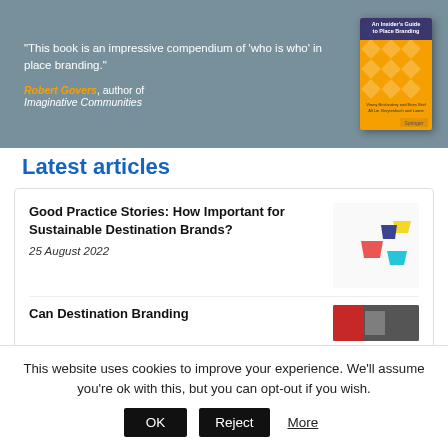[Figure (photo): Book promotional banner showing a quote by Robert Govers, author of Imaginative Communities, about 'An Insider's Guide to Place Branding'. The quote reads: 'This book is an impressive compendium of who is who in place branding.' The book cover is shown in orange on the right.]
Latest articles
Good Practice Stories: How Important for Sustainable Destination Brands?
25 August 2022
[Figure (photo): Photo of colorful origami paper boats on a white surface — yellow, dark blue, red, cyan/teal.]
Can Destination Branding
[Figure (photo): Partially visible thumbnail image for second article.]
This website uses cookies to improve your experience. We'll assume you're ok with this, but you can opt-out if you wish.